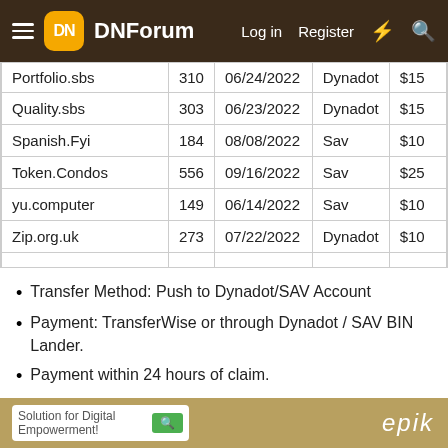DNForum — Log in  Register
| Domain |  | Date | Registrar | Price |
| --- | --- | --- | --- | --- |
| Portfolio.sbs | 310 | 06/24/2022 | Dynadot | $15 |
| Quality.sbs | 303 | 06/23/2022 | Dynadot | $15 |
| Spanish.Fyi | 184 | 08/08/2022 | Sav | $10 |
| Token.Condos | 556 | 09/16/2022 | Sav | $25 |
| yu.computer | 149 | 06/14/2022 | Sav | $10 |
| Zip.org.uk | 273 | 07/22/2022 | Dynadot | $10 |
Transfer Method: Push to Dynadot/SAV Account
Payment: TransferWise or through Dynadot / SAV BIN Lander.
Payment within 24 hours of claim.
Last edited: May 28, 2022